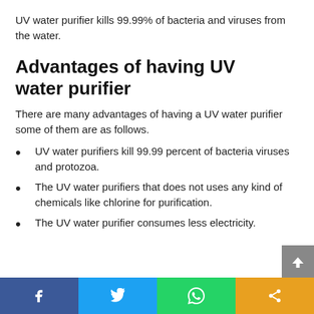UV water purifier kills 99.99% of bacteria and viruses from the water.
Advantages of having UV water purifier
There are many advantages of having a UV water purifier some of them are as follows.
UV water purifiers kill 99.99 percent of bacteria viruses and protozoa.
The UV water purifiers that does not uses any kind of chemicals like chlorine for purification.
The UV water purifier consumes less electricity.